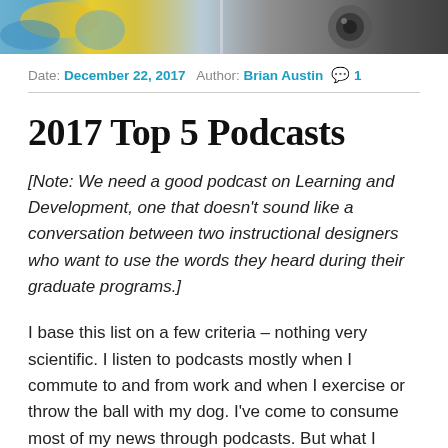[Figure (photo): Partial cropped photo showing colorful objects on left and what appears to be a camera lens or microphone on the right, in blue and grey tones.]
Date: December 22, 2017   Author: Brian Austin   💬 1
2017 Top 5 Podcasts
[Note: We need a good podcast on Learning and Development, one that doesn't sound like a conversation between two instructional designers who want to use the words they heard during their graduate programs.]
I base this list on a few criteria – nothing very scientific. I listen to podcasts mostly when I commute to and from work and when I exercise or throw the ball with my dog. I've come to consume most of my news through podcasts. But what I really use podcasts for is to stir up